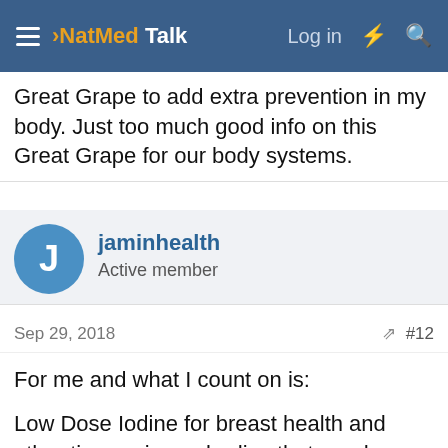NatMed Talk — Log in
Great Grape to add extra prevention in my body. Just too much good info on this Great Grape for our body systems.
jaminhealth
Active member
Sep 29, 2018
#12
For me and what I count on is:

Low Dose Iodine for breast health and other tissues in our bodies that need iodine. I don't get those barberic mammograms.

The Great Grape and there is tons of information out there on cancer prevention, on this wonderful Grape